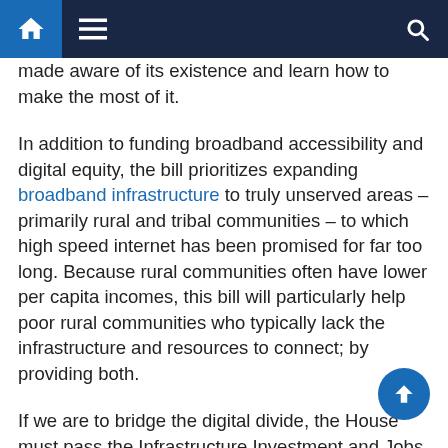Navigation bar with home, menu, and search icons
made aware of its existence and learn how to make the most of it.
In addition to funding broadband accessibility and digital equity, the bill prioritizes expanding broadband infrastructure to truly unserved areas – primarily rural and tribal communities – to which high speed internet has been promised for far too long. Because rural communities often have lower per capita incomes, this bill will particularly help poor rural communities who typically lack the infrastructure and resources to connect; by providing both.
If we are to bridge the digital divide, the House must pass the Infrastructure Investment and Jobs Act, already passed by the Senate. This alone would put millions of low-income people online permanently by creating a long-term program they can count on to help pay for broadband access and by